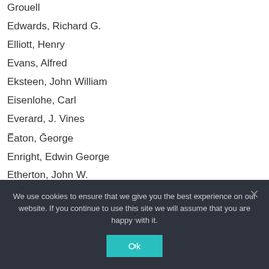Grouell
Edwards, Richard G.
Elliott, Henry
Evans, Alfred
Eksteen, John William
Eisenlohe, Carl
Everard, J. Vines
Eaton, George
Enright, Edwin George
Etherton, John W.
Edgelow, Herbert
Edgell, Edward
Ramsay
Ehlert, Frederick
We use cookies to ensure that we give you the best experience on our website. If you continue to use this site we will assume that you are happy with it.